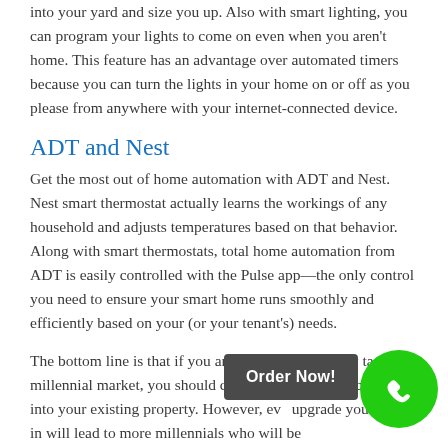into your yard and size you up. Also with smart lighting, you can program your lights to come on even when you aren't home. This feature has an advantage over automated timers because you can turn the lights in your home on or off as you please from anywhere with your internet-connected device.
ADT and Nest
Get the most out of home automation with ADT and Nest. Nest smart thermostat actually learns the workings of any household and adjusts temperatures based on that behavior. Along with smart thermostats, total home automation from ADT is easily controlled with the Pulse app—the only control you need to ensure your smart home runs smoothly and efficiently based on your (or your tenant's) needs.
The bottom line is that if you are going to effectively target millennial market, you should consider lth chunk of change into your existing property. However, eve upgrade you invest in will lead to more millennials who will be